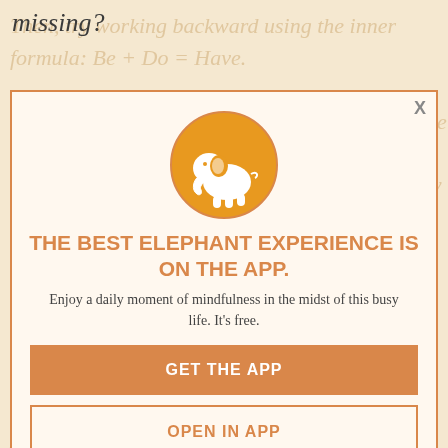missing?
[Figure (infographic): Modal popup for Elephant app with orange elephant logo icon, promotional text, and two call-to-action buttons]
THE BEST ELEPHANT EXPERIENCE IS ON THE APP.
Enjoy a daily moment of mindfulness in the midst of this busy life. It's free.
GET THE APP
OPEN IN APP